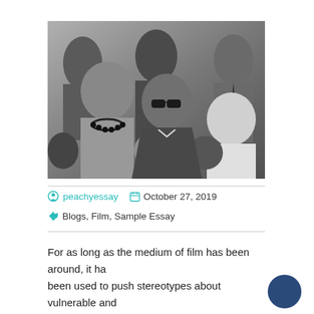[Figure (photo): Black and white photograph of a crowd of people, featuring a woman with a beaded necklace on the left, a man wearing sunglasses in the center, and other individuals including a man in a white shirt on the right.]
peachyessay   October 27, 2019
Blogs, Film, Sample Essay
For as long as the medium of film has been around, it ha been used to push stereotypes about vulnerable and